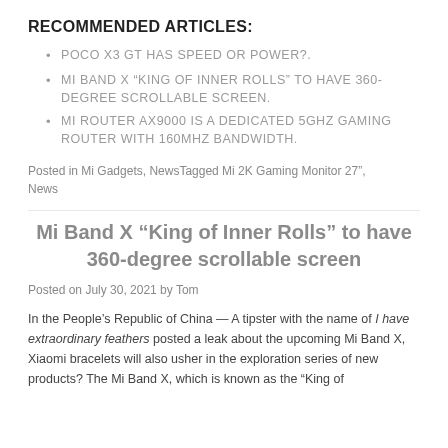RECOMMENDED ARTICLES:
POCO X3 GT HAS SPEED OR POWER?.
MI BAND X “KING OF INNER ROLLS” TO HAVE 360-DEGREE SCROLLABLE SCREEN.
MI ROUTER AX9000 IS A DEDICATED 5GHZ GAMING ROUTER WITH 160MHZ BANDWIDTH.
Posted in Mi Gadgets, NewsTagged Mi 2K Gaming Monitor 27", News
Mi Band X “King of Inner Rolls” to have 360-degree scrollable screen
Posted on July 30, 2021 by Tom
In the People’s Republic of China — A tipster with the name of I have extraordinary feathers posted a leak about the upcoming Mi Band X, Xiaomi bracelets will also usher in the exploration series of new products? The Mi Band X, which is known as the “King of